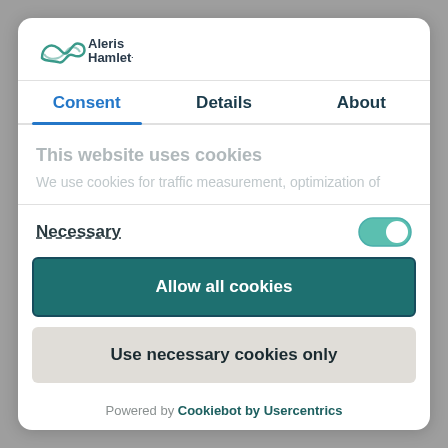[Figure (logo): Aleris Hamlet logo with stylized wave icon and text]
Consent | Details | About
This website uses cookies
We use cookies for traffic measurement, optimization of
Necessary
Allow all cookies
Use necessary cookies only
Powered by Cookiebot by Usercentrics